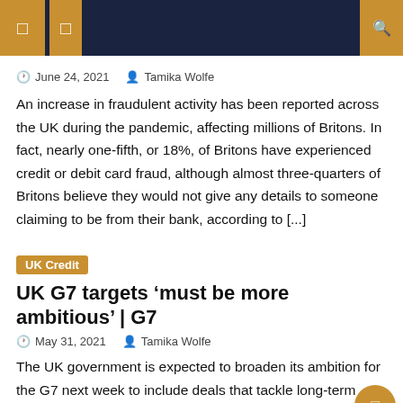Navigation header bar with icons
🕐 June 24, 2021   👤 Tamika Wolfe
An increase in fraudulent activity has been reported across the UK during the pandemic, affecting millions of Britons. In fact, nearly one-fifth, or 18%, of Britons have experienced credit or debit card fraud, although almost three-quarters of Britons believe they would not give any details to someone claiming to be from their bank, according to [...]
UK Credit
UK G7 targets 'must be more ambitious' | G7
🕐 May 31, 2021   👤 Tamika Wolfe
The UK government is expected to broaden its ambition for the G7 next week to include deals that tackle long-term ...